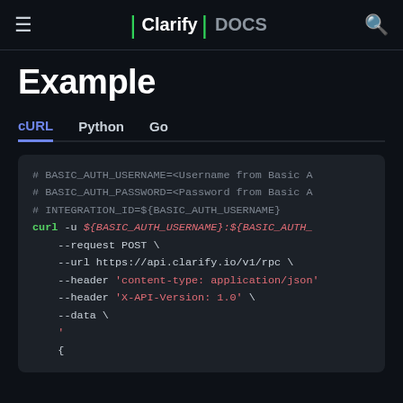≡  | Clarify | DOCS  🔍
Example
cURL   Python   Go
# BASIC_AUTH_USERNAME=<Username from Basic A
# BASIC_AUTH_PASSWORD=<Password from Basic A
# INTEGRATION_ID=${BASIC_AUTH_USERNAME}
curl -u ${BASIC_AUTH_USERNAME}:${BASIC_AUTH_
    --request POST \
    --url https://api.clarify.io/v1/rpc \
    --header 'content-type: application/json'
    --header 'X-API-Version: 1.0' \
    --data \
    '
    {